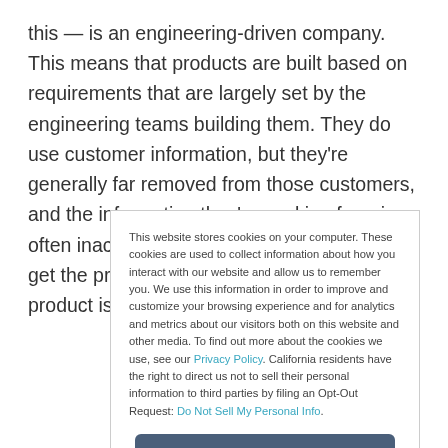this — is an engineering-driven company. This means that products are built based on requirements that are largely set by the engineering teams building them. They do use customer information, but they're generally far removed from those customers, and the information they're working from is often inaccurate or untimely. Their goal is to get the product out the door. Only after the product is crafted does marketing
This website stores cookies on your computer. These cookies are used to collect information about how you interact with our website and allow us to remember you. We use this information in order to improve and customize your browsing experience and for analytics and metrics about our visitors both on this website and other media. To find out more about the cookies we use, see our Privacy Policy. California residents have the right to direct us not to sell their personal information to third parties by filing an Opt-Out Request: Do Not Sell My Personal Info.
Accept